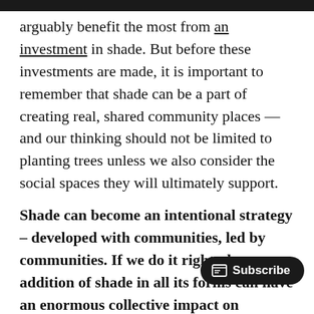arguably benefit the most from an investment in shade. But before these investments are made, it is important to remember that shade can be a part of creating real, shared community places —and our thinking should not be limited to planting trees unless we also consider the social spaces they will ultimately support.
Shade can become an intentional strategy – developed with communities, led by communities. If we do it right, the addition of shade in all its forms can have an enormous collective impact on community health and its long-term effect on